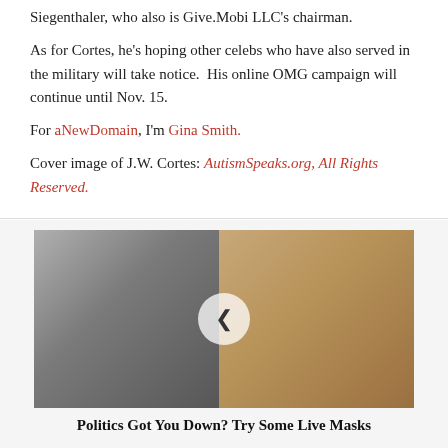Siegenthaler, who also is Give.Mobi LLC's chairman.
As for Cortes, he's hoping other celebs who have also served in the military will take notice.  His online OMG campaign will continue until Nov. 15.
For aNewDomain, I'm Gina Smith.
Cover image of J.W. Cortes: AutismSpeaks.org, All Rights Reserved.
[Figure (photo): Two people wearing face masks, one on the left appearing female and one on the right appearing male with light brown hair. A circular play button overlay is centered on the image.]
Politics Got You Down? Try Some Live Masks